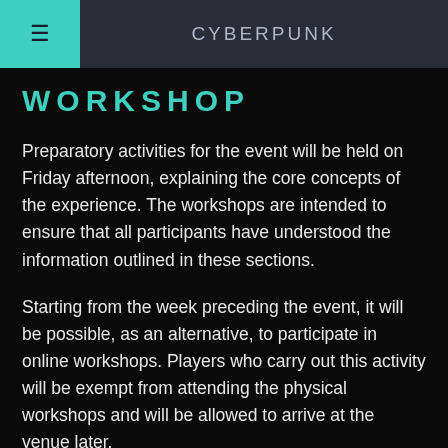CYBERPUNK
WORKSHOP
Preparatory activities for the event will be held on Friday afternoon, explaining the core concepts of the experience. The workshops are intended to ensure that all participants have understood the information outlined in these sections.
Starting from the week preceding the event, it will be possible, as an alternative, to participate in online workshops. Players who carry out this activity will be exempt from attending the physical workshops and will be allowed to arrive at the venue later.
Important: it is not possible to attend the event without having completed workshops (be it online or live). At the